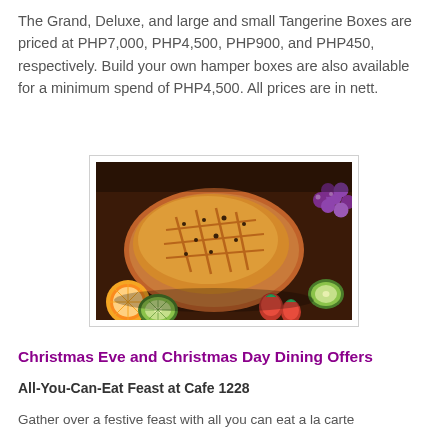The Grand, Deluxe, and large and small Tangerine Boxes are priced at PHP7,000, PHP4,500, PHP900, and PHP450, respectively. Build your own hamper boxes are also available for a minimum spend of PHP4,500. All prices are in nett.
[Figure (photo): A roasted meat dish surrounded by fruits including kiwi, strawberries, grapes, and orange slices on a serving plate.]
Christmas Eve and Christmas Day Dining Offers
All-You-Can-Eat Feast at Cafe 1228
Gather over a festive feast with all you can eat a la carte